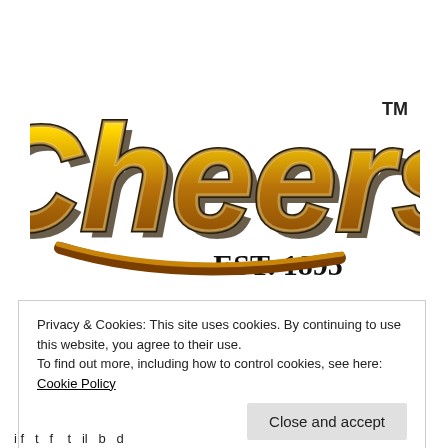[Figure (logo): Cheers EST. 1895 logo with golden retro script lettering and trademark symbol]
Privacy & Cookies: This site uses cookies. By continuing to use this website, you agree to their use.
To find out more, including how to control cookies, see here: Cookie Policy
Close and accept
i f t f t il b d